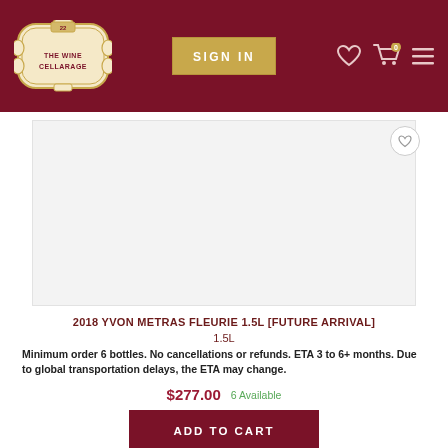THE WINE CELLARAGE — SIGN IN
[Figure (photo): Product image placeholder — light gray square for 2018 Yvon Metras Fleurie 1.5L wine bottle]
2018 YVON METRAS FLEURIE 1.5L [FUTURE ARRIVAL]
1.5L
Minimum order 6 bottles. No cancellations or refunds. ETA 3 to 6+ months. Due to global transportation delays, the ETA may change.
$277.00   6 Available
ADD TO CART